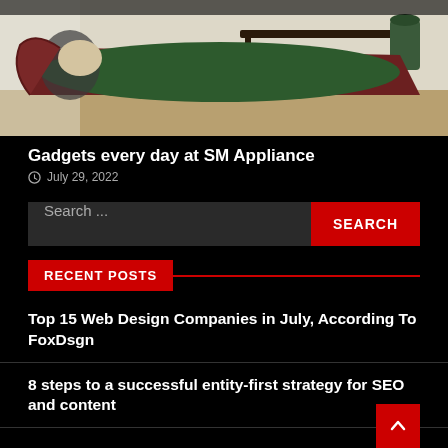[Figure (photo): A person lying on a vintage chaise lounge covered with a dark green blanket, in a bright room with a dark console table and a potted plant in the background.]
Gadgets every day at SM Appliance
July 29, 2022
Search ...
RECENT POSTS
Top 15 Web Design Companies in July, According To FoxDsgn
8 steps to a successful entity-first strategy for SEO and content